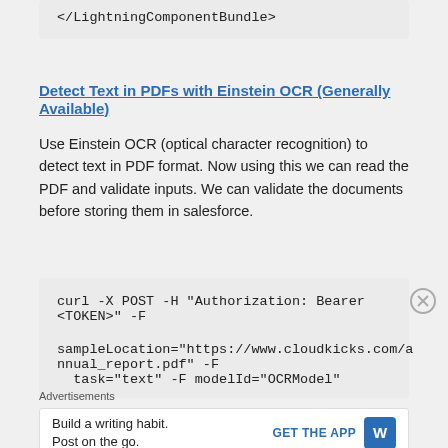</LightningComponentBundle>
Detect Text in PDFs with Einstein OCR (Generally Available)
Use Einstein OCR (optical character recognition) to detect text in PDF format. Now using this we can read the PDF and validate inputs. We can validate the documents before storing them in salesforce.
curl -X POST -H "Authorization: Bearer <TOKEN>" -F

sampleLocation="https://www.cloudkicks.com/annual_report.pdf" -F
  task="text" -F modelId="OCRModel"
Advertisements
Build a writing habit. Post on the go.